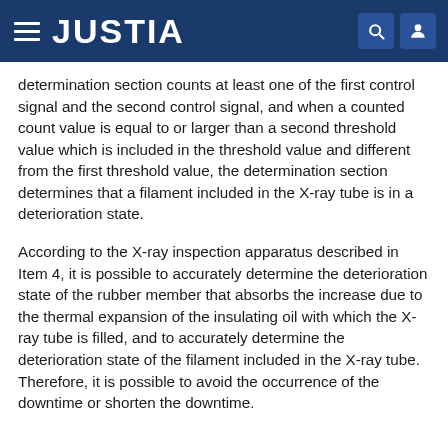JUSTIA
determination section counts at least one of the first control signal and the second control signal, and when a counted count value is equal to or larger than a second threshold value which is included in the threshold value and different from the first threshold value, the determination section determines that a filament included in the X-ray tube is in a deterioration state.
According to the X-ray inspection apparatus described in Item 4, it is possible to accurately determine the deterioration state of the rubber member that absorbs the increase due to the thermal expansion of the insulating oil with which the X-ray tube is filled, and to accurately determine the deterioration state of the filament included in the X-ray tube. Therefore, it is possible to avoid the occurrence of the downtime or shorten the downtime.